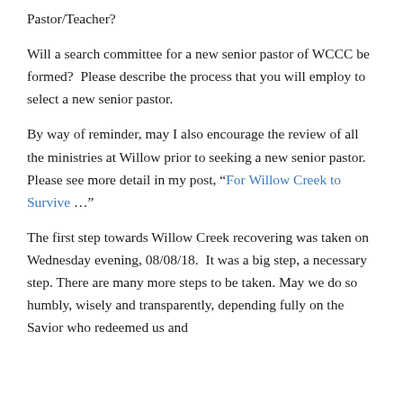Pastor/Teacher?
Will a search committee for a new senior pastor of WCCC be formed?  Please describe the process that you will employ to select a new senior pastor.
By way of reminder, may I also encourage the review of all the ministries at Willow prior to seeking a new senior pastor.  Please see more detail in my post, “For Willow Creek to Survive …”
The first step towards Willow Creek recovering was taken on Wednesday evening, 08/08/18.  It was a big step, a necessary step. There are many more steps to be taken. May we do so humbly, wisely and transparently, depending fully on the Savior who redeemed us and